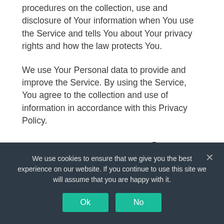procedures on the collection, use and disclosure of Your information when You use the Service and tells You about Your privacy rights and how the law protects You.
We use Your Personal data to provide and improve the Service. By using the Service, You agree to the collection and use of information in accordance with this Privacy Policy.
Interpretation and Definitions
We use cookies to ensure that we give you the best experience on our website. If you continue to use this site we will assume that you are happy with it.